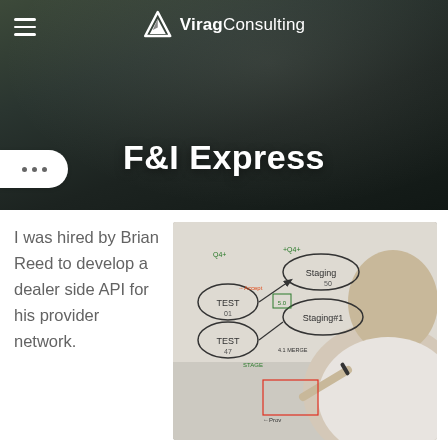[Figure (photo): Hero banner photo of a man at a whiteboard with diagrams and arrows, with dark overlay. Virag Consulting logo and hamburger menu visible.]
F&I Express
[Figure (photo): Photo of the same man pointing at a whiteboard covered in flowchart diagrams with ovals labeled TEST and Staging, connected by arrows.]
I was hired by Brian Reed to develop a dealer side API for his provider network.